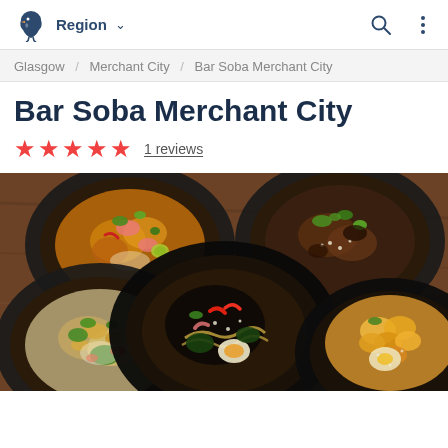Region ∨
Glasgow / Merchant City / Bar Soba Merchant City
Bar Soba Merchant City
★★★★★ 1 reviews
[Figure (photo): Overhead view of five black bowls containing various Asian noodle and rice dishes on a wooden table]